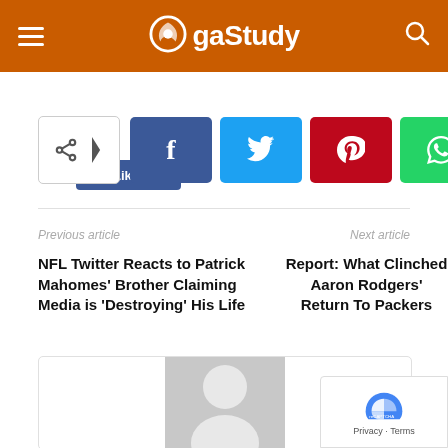GaStudy
[Figure (screenshot): Like button with count 132]
[Figure (infographic): Social share buttons: share, Facebook, Twitter, Pinterest, WhatsApp]
Previous article
Next article
NFL Twitter Reacts to Patrick Mahomes' Brother Claiming Media is 'Destroying' His Life
Report: What Clinched Aaron Rodgers' Return To Packers
[Figure (photo): Default user avatar placeholder image]